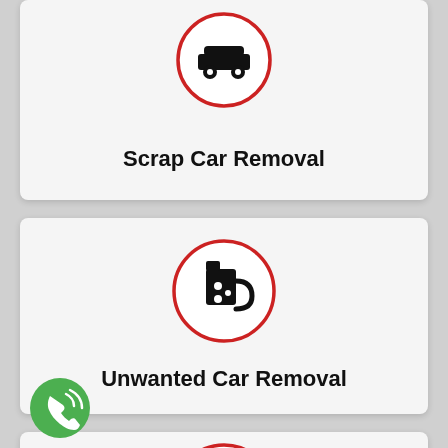[Figure (infographic): Scrap Car Removal service card with car icon in red circle]
Scrap Car Removal
[Figure (infographic): Unwanted Car Removal service card with damaged car/jug icon in red circle]
Unwanted Car Removal
[Figure (infographic): Partially visible card with car icon in red circle and green phone button in bottom left corner]